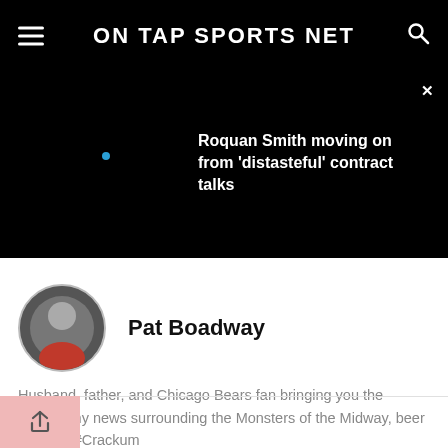ON TAP SPORTS NET
Roquan Smith moving on from 'distasteful' contract talks
Pat Boadway
Husband, father, and Chicago Bears fan bringing you the noteworthy news surrounding the Monsters of the Midway, beer in hand. #Crackum